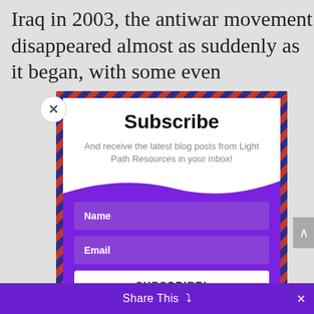Iraq in 2003, the antiwar movement disappeared almost as suddenly as it began, with some even
Subscribe
And receive the latest blog posts from Light Path Resources in your inbox!
Name
Email
SUBSCRIBE!
Share This  ∨